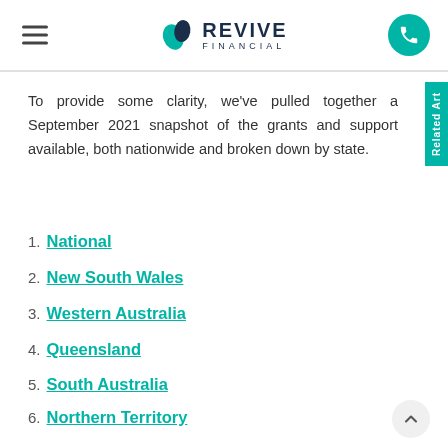Revive Financial
To provide some clarity, we've pulled together a September 2021 snapshot of the grants and support available, both nationwide and broken down by state.
National
New South Wales
Western Australia
Queensland
South Australia
Northern Territory
Australian Capital Territory